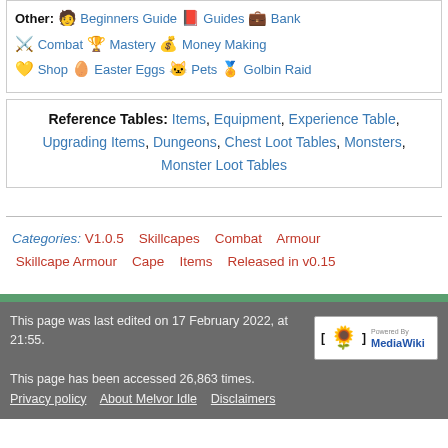Other: 🧑 Beginners Guide 📕 Guides 💼 Bank ⚔️ Combat 🏆 Mastery 💰 Money Making 💰 Shop 🥚 Easter Eggs 🐱 Pets 🏅 Golbin Raid
Reference Tables: Items, Equipment, Experience Table, Upgrading Items, Dungeons, Chest Loot Tables, Monsters, Monster Loot Tables
Categories: V1.0.5  Skillcapes  Combat  Armour  Skillcape Armour  Cape  Items  Released in v0.15
This page was last edited on 17 February 2022, at 21:55.

This page has been accessed 26,863 times.   Privacy policy   About Melvor Idle   Disclaimers